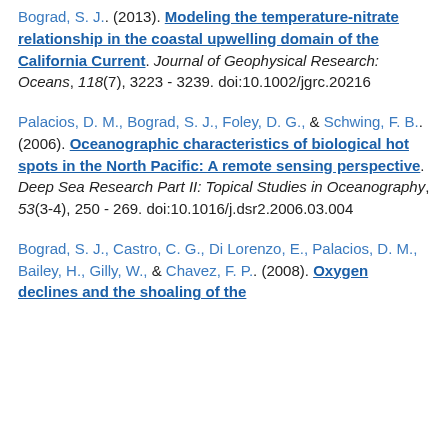Bograd, S. J.. (2013). Modeling the temperature-nitrate relationship in the coastal upwelling domain of the California Current. Journal of Geophysical Research: Oceans, 118(7), 3223 - 3239. doi:10.1002/jgrc.20216
Palacios, D. M., Bograd, S. J., Foley, D. G., & Schwing, F. B.. (2006). Oceanographic characteristics of biological hot spots in the North Pacific: A remote sensing perspective. Deep Sea Research Part II: Topical Studies in Oceanography, 53(3-4), 250 - 269. doi:10.1016/j.dsr2.2006.03.004
Bograd, S. J., Castro, C. G., Di Lorenzo, E., Palacios, D. M., Bailey, H., Gilly, W., & Chavez, F. P.. (2008). Oxygen declines and the shoaling of the...